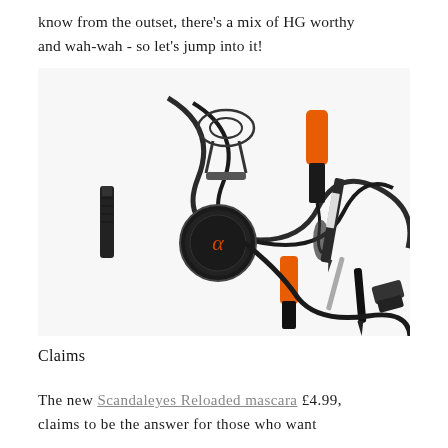know from the outset, there's a mix of HG worthy and wah-wah - so let's jump into it!
[Figure (photo): Flat lay of eye makeup products on white background: mascara with orange cap, eyelash curler, black eyeliner pencil, camera lens cap, ribbon/mascara wand, and other cosmetic tools scattered artfully.]
Claims
The new Scandaleyes Reloaded mascara £4.99, claims to be the answer for those who want